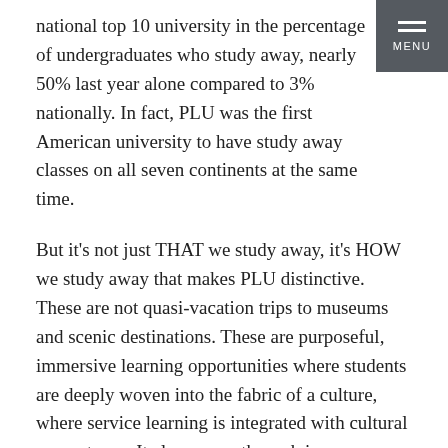national top 10 university in the percentage of undergraduates who study away, nearly 50% last year alone compared to 3% nationally. In fact, PLU was the first American university to have study away classes on all seven continents at the same time.
But it's not just THAT we study away, it's HOW we study away that makes PLU distinctive. These are not quasi-vacation trips to museums and scenic destinations. These are purposeful, immersive learning opportunities where students are deeply woven into the fabric of a culture, where service learning is integrated with cultural competence. It also comes through in our admissions outreach to disadvantaged, yet promising students of color and undocumented students.
I am grateful for the efforts of so many students, faculty